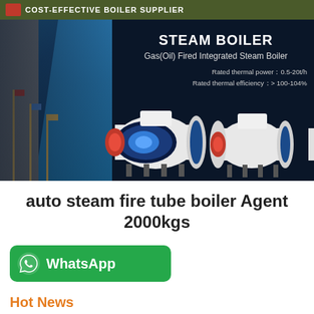COST-EFFECTIVE BOILER SUPPLIER
[Figure (photo): Product banner showing Gas(Oil) Fired Integrated Steam Boilers on dark background with building on left. Text overlay: STEAM BOILER, Gas(Oil) Fired Integrated Steam Boiler, Rated thermal power: 0.5-20t/h, Rated thermal efficiency: > 100-104%]
auto steam fire tube boiler Agent 2000kgs
[Figure (logo): WhatsApp button - green rounded rectangle with WhatsApp phone icon and text 'WhatsApp']
Hot News